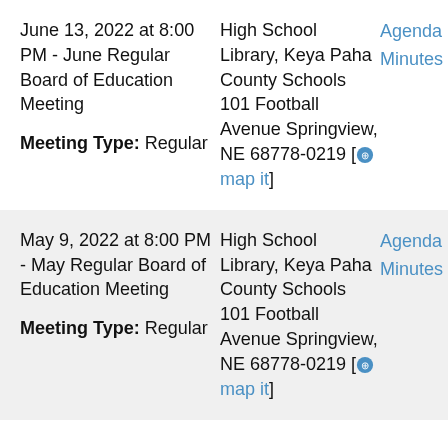June 13, 2022 at 8:00 PM - June Regular Board of Education Meeting
Meeting Type: Regular
High School Library, Keya Paha County Schools 101 Football Avenue Springview, NE 68778-0219 [map it]
Agenda
Minutes
May 9, 2022 at 8:00 PM - May Regular Board of Education Meeting
Meeting Type: Regular
High School Library, Keya Paha County Schools 101 Football Avenue Springview, NE 68778-0219 [map it]
Agenda
Minutes